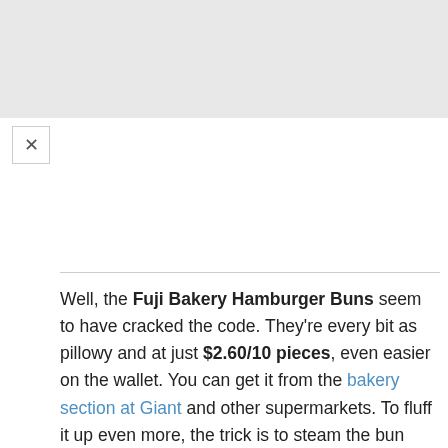Well, the Fuji Bakery Hamburger Buns seem to have cracked the code. They're every bit as pillowy and at just $2.60/10 pieces, even easier on the wallet. You can get it from the bakery section at Giant and other supermarkets. To fluff it up even more, the trick is to steam the bun rather than toast it for that soft texture we know and love.
2021 update: Do note that due to import issues, the Fuji Bakery buns are currently only available on Shopee Malaysia and Tesco Malaysia. Hang in there, Singaporeans!
A dune for the fish filet itself is also available at Giant. Known